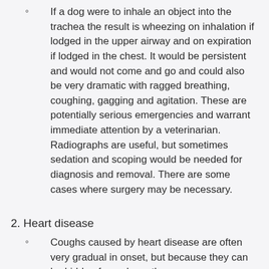If a dog were to inhale an object into the trachea the result is wheezing on inhalation if lodged in the upper airway and on expiration if lodged in the chest. It would be persistent and would not come and go and could also be very dramatic with ragged breathing, coughing, gagging and agitation. These are potentially serious emergencies and warrant immediate attention by a veterinarian. Radiographs are useful, but sometimes sedation and scoping would be needed for diagnosis and removal. There are some cases where surgery may be necessary.
2. Heart disease
Coughs caused by heart disease are often very gradual in onset, but because they can be hidden for so long, they can